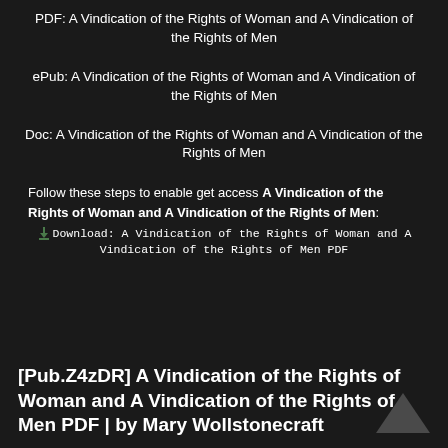PDF: A Vindication of the Rights of Woman and A Vindication of the Rights of Men
ePub: A Vindication of the Rights of Woman and A Vindication of the Rights of Men
Doc: A Vindication of the Rights of Woman and A Vindication of the Rights of Men
Follow these steps to enable get access A Vindication of the Rights of Woman and A Vindication of the Rights of Men: Download: A Vindication of the Rights of Woman and A Vindication of the Rights of Men PDF
[Pub.Z4zDR] A Vindication of the Rights of Woman and A Vindication of the Rights of Men PDF | by Mary Wollstonecraft